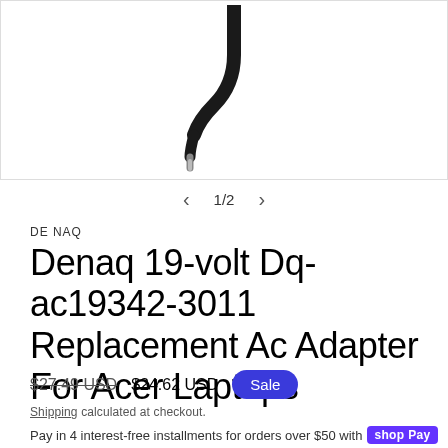[Figure (photo): Product photo of a black angled DC power connector/plug (L-shaped barrel connector tip) on a white background]
1/2
DE NAQ
Denaq 19-volt Dq-ac19342-3011 Replacement Ac Adapter For Acer Laptops
$27.49 USD  $24.62 USD  Sale
Shipping calculated at checkout.
Pay in 4 interest-free installments for orders over $50 with shop Pay